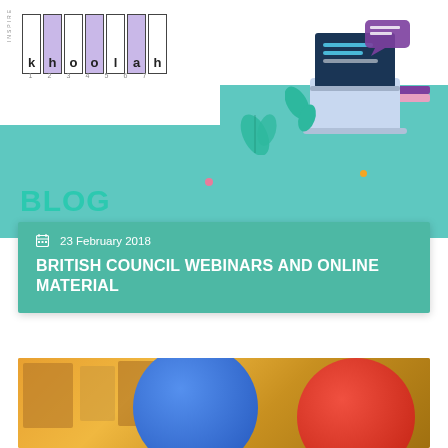[Figure (illustration): Blog header image with teal background, laptop illustration, decorative leaves and dots, logo with letter tiles spelling 'khoolah' or similar, and BLOG label in teal text]
23 February 2018
BRITISH COUNCIL WEBINARS AND ONLINE MATERIAL
[Figure (photo): Photo of colorful balloons (blue and red) against an orange/yellow background with blurred art on walls behind]